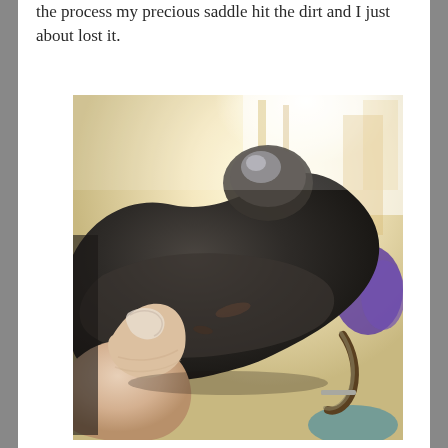the process my precious saddle hit the dirt and I just about lost it.
[Figure (photo): A close-up photo of a dark leather saddle being held by a person's hand (thumb visible in foreground). The saddle appears to have some dirt on it. Background is bright/overexposed with hints of a stable or barn environment and purple fabric visible.]